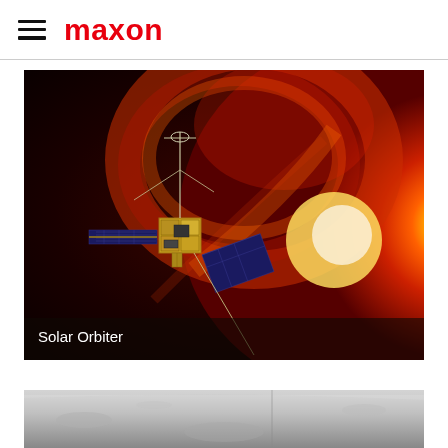maxon
[Figure (photo): Solar Orbiter spacecraft near the sun with dramatic red and orange solar corona/flare imagery. A gold-colored satellite with extended solar panels and antenna booms floats in space in the left portion of the image, while the sun's surface with brilliant glowing plasma fills the right side. Text overlay reads 'Solar Orbiter'.]
Solar Orbiter
[Figure (photo): Partial view of a grey/white cratered lunar surface (moon), cropped at the bottom of the page. Grey tones with a vertical thin line visible.]